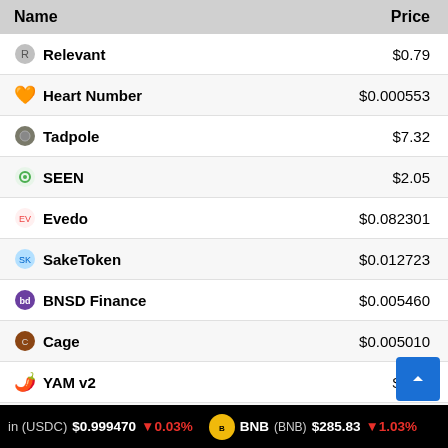| Name | Price |
| --- | --- |
| Relevant | $0.79 |
| Heart Number | $0.000553 |
| Tadpole | $7.32 |
| SEEN | $2.05 |
| Evedo | $0.082301 |
| SakeToken | $0.012723 |
| BNSD Finance | $0.005460 |
| Cage | $0.005010 |
| YAM v2 | $4.70 |
| PolkaBridge | $0.439876 |
pin (USDC) $0.999470 ↓0.03% BNB (BNB) $285.83 ↓1.03%